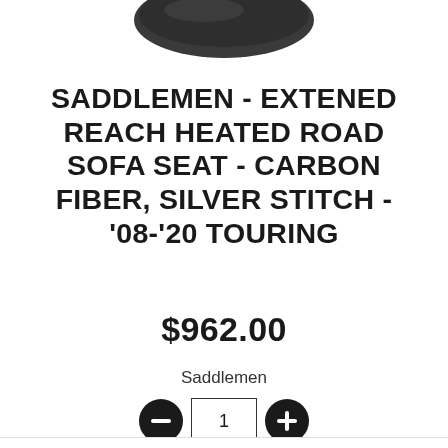[Figure (photo): Partial view of a motorcycle seat product (dark/black seat shape visible at top of page, cropped)]
SADDLEMEN - EXTENED REACH HEATED ROAD SOFA SEAT - CARBON FIBER, SILVER STITCH - '08-'20 TOURING
$962.00
Saddlemen
1